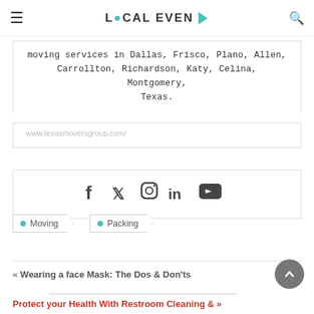LOCAL EVEN
moving services in Dallas, Frisco, Plano, Allen, Carrollton, Richardson, Katy, Celina, Montgomery, Texas.
www.texasmoversgroup.com/
[Figure (other): Social media icons: Facebook, Twitter, Instagram, LinkedIn, YouTube]
Moving
Packing
« Wearing a face Mask: The Dos & Don'ts
Protect your Health With Restroom Cleaning & »